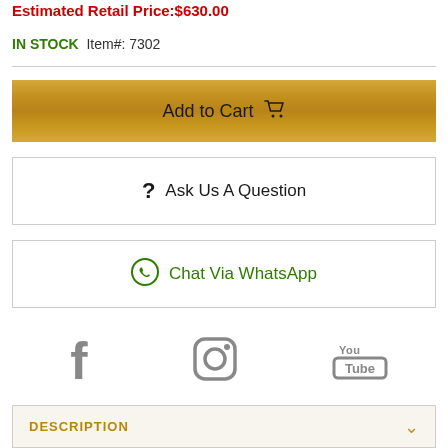Estimated Retail Price:$630.00
IN STOCK  Item#: 7302
Add to Cart
? Ask Us A Question
Chat Via WhatsApp
[Figure (illustration): Facebook, Instagram, and YouTube social media icons in gray]
DESCRIPTION